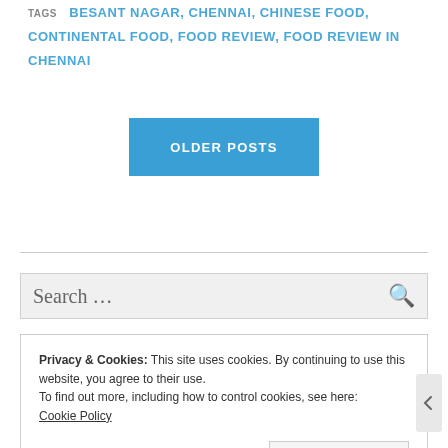TAGS BESANT NAGAR, CHENNAI, CHINESE FOOD, CONTINENTAL FOOD, FOOD REVIEW, FOOD REVIEW IN CHENNAI
OLDER POSTS
Search ...
Privacy & Cookies: This site uses cookies. By continuing to use this website, you agree to their use.
To find out more, including how to control cookies, see here:
Cookie Policy
Close and accept